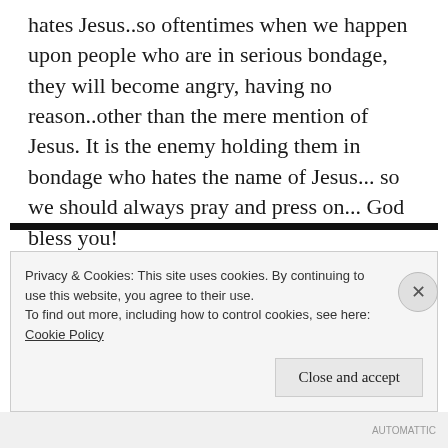hates Jesus..so oftentimes when we happen upon people who are in serious bondage, they will become angry, having no reason..other than the mere mention of Jesus. It is the enemy holding them in bondage who hates the name of Jesus... so we should always pray and press on... God bless you!
★ Like
Privacy & Cookies: This site uses cookies. By continuing to use this website, you agree to their use.
To find out more, including how to control cookies, see here:
Cookie Policy
Close and accept